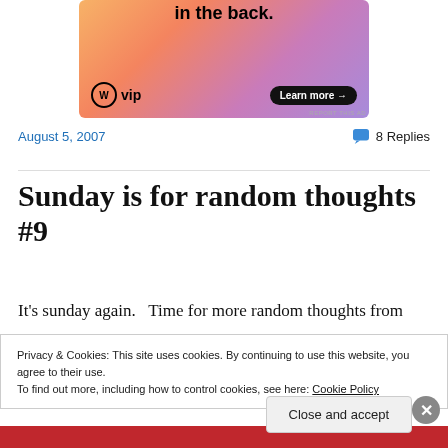[Figure (illustration): WordPress VIP advertisement banner with gradient orange-pink-purple background, showing 'in the back.' text, WordPress VIP logo, and 'Learn more →' button]
REPORT THIS AD
August 5, 2007
8 Replies
Sunday is for random thoughts #9
It's sunday again.   Time for more random thoughts from
Privacy & Cookies: This site uses cookies. By continuing to use this website, you agree to their use.
To find out more, including how to control cookies, see here: Cookie Policy
Close and accept